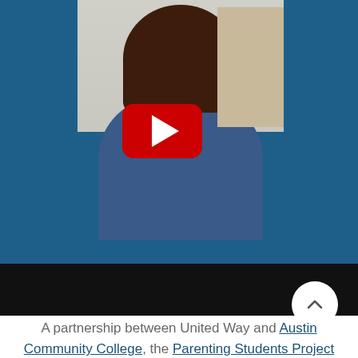[Figure (screenshot): A YouTube video thumbnail showing a woman in a blue long-sleeve shirt standing in front of a door. The video has a red YouTube play button overlay in the center. The thumbnail is set against a dark blue background with a black bar at the bottom.]
A partnership between United Way and Austin Community College, the Parenting Students Project